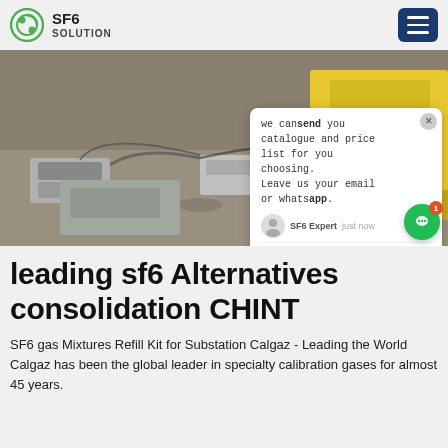SF6 SOLUTION
[Figure (photo): SF6 gas handling equipment on gravel next to a yellow truck, with cables and device boxes visible on the ground]
we can send you catalogue and price list for you choosing. Leave us your email or whatsapp.
SF6 Expert just now
Write
leading sf6 Alternatives consolidation CHINT
SF6 gas Mixtures Refill Kit for Substation Calgaz - Leading the World Calgaz has been the global leader in specialty calibration gases for almost 45 years.